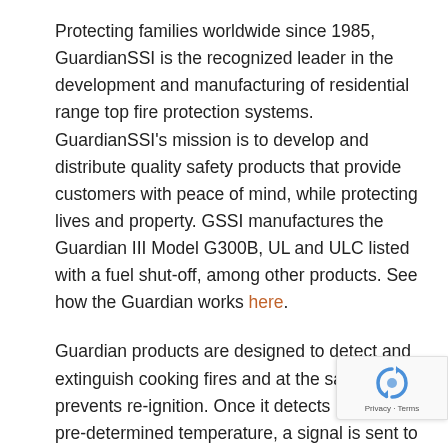Protecting families worldwide since 1985, GuardianSSI is the recognized leader in the development and manufacturing of residential range top fire protection systems. GuardianSSI's mission is to develop and distribute quality safety products that provide customers with peace of mind, while protecting lives and property. GSSI manufactures the Guardian III Model G300B, UL and ULC listed with a fuel shut-off, among other products. See how the Guardian works here.
Guardian products are designed to detect and extinguish cooking fires and at the same time prevents re-ignition. Once it detects heat at a pre-determined temperature, a signal is sent to release the extinguishing agent to suppress the fire and to shut the gas or electric supply to the stove in order to prevent reigniting. Whether it is a single residence,